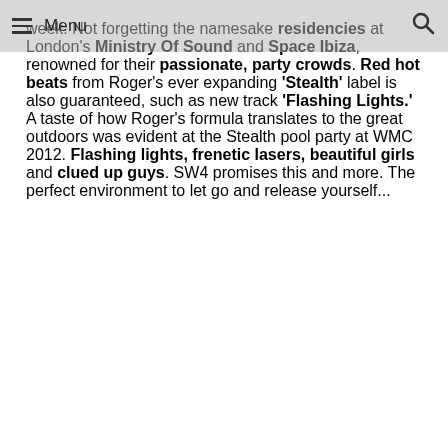Menu
week. Not forgetting the namesake residencies at London's Ministry Of Sound and Space Ibiza, renowned for their passionate, party crowds. Red hot beats from Roger's ever expanding 'Stealth' label is also guaranteed, such as new track 'Flashing Lights.' A taste of how Roger's formula translates to the great outdoors was evident at the Stealth pool party at WMC 2012. Flashing lights, frenetic lasers, beautiful girls and clued up guys. SW4 promises this and more. The perfect environment to let go and release yourself...